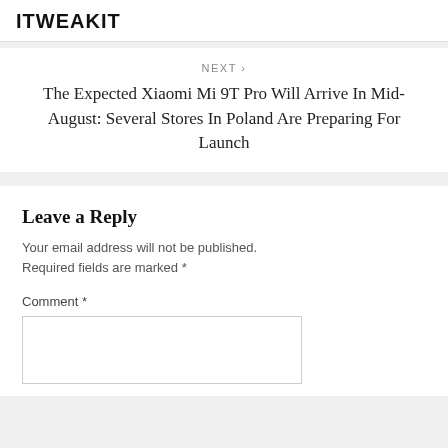ITWEAKIT
NEXT ›
The Expected Xiaomi Mi 9T Pro Will Arrive In Mid-August: Several Stores In Poland Are Preparing For Launch
Leave a Reply
Your email address will not be published. Required fields are marked *
Comment *